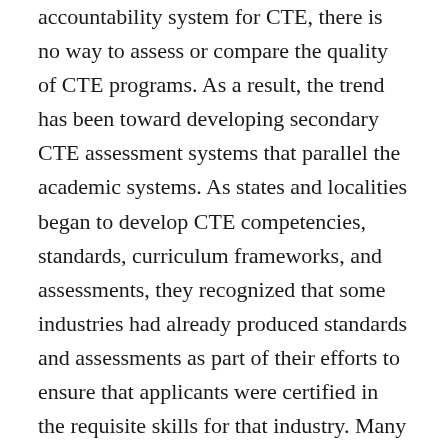accountability system for CTE, there is no way to assess or compare the quality of CTE programs. As a result, the trend has been toward developing secondary CTE assessment systems that parallel the academic systems. As states and localities began to develop CTE competencies, standards, curriculum frameworks, and assessments, they recognized that some industries had already produced standards and assessments as part of their efforts to ensure that applicants were certified in the requisite skills for that industry. Many schools, school districts, and states thus adopted industry- recognized credentials (IRC) as a component of their CTE accountability systems.
At first glance, standards and assessments developed by industry seem a perfect match for a related career